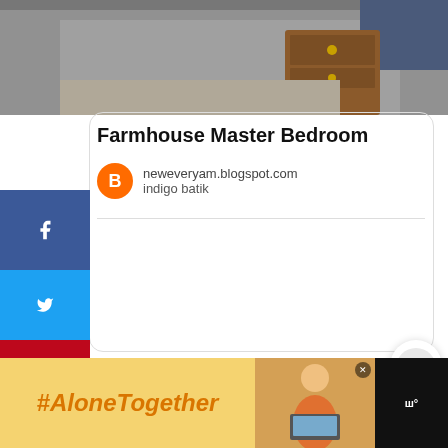[Figure (photo): Bedroom scene showing carpet floor, wooden dresser/nightstand with knob, top portion cropped]
Farmhouse Master Bedroom
neweveryam.blogspot.com
indigo batik
[Figure (infographic): Social media share sidebar with Facebook, Twitter, Pinterest (485), heart/like (26), and email buttons]
485
SHARES
[Figure (infographic): Floating action bubble with heart icon showing 511 count and share icon]
[Figure (infographic): What's Next panel showing thumbnail and 'Sherwin Williams...' text]
[Figure (infographic): #AloneTogether advertisement banner in yellow with photo and logo]
WHAT'S NEXT → Sherwin Williams...